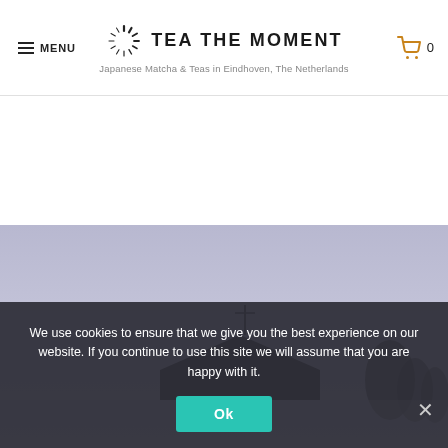MENU | TEA THE MOMENT | Japanese Matcha & Teas in Eindhoven, The Netherlands | 0
[Figure (photo): Outdoor photo of a Japanese building/rooftop against a pale blue-grey sky, with trees visible at right edge.]
We use cookies to ensure that we give you the best experience on our website. If you continue to use this site we will assume that you are happy with it.
Ok
Matcha (– €16.35– €29... BTW –€30... ...